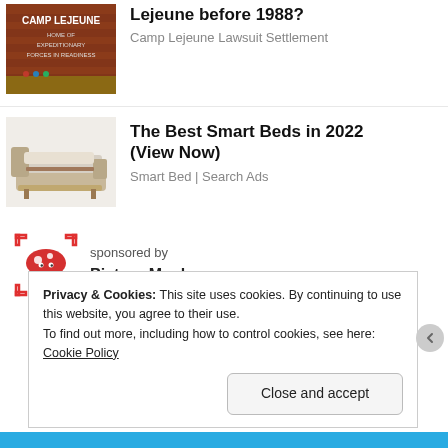[Figure (photo): Camp Lejeune sign — brick wall with white text reading CAMP LEJEUNE HOME OF EXPEDITIONARY FORCES IN READINESS]
Lejeune before 1988?
Camp Lejeune Lawsuit Settlement
[Figure (photo): Smart bed with massage features and side panels extended]
The Best Smart Beds in 2022 (View Now)
Smart Bed | Search Ads
[Figure (logo): Picture Mushroom app logo — red mushroom with scan brackets]
sponsored by
Picture Mushroom
Privacy & Cookies: This site uses cookies. By continuing to use this website, you agree to their use.
To find out more, including how to control cookies, see here: Cookie Policy
Close and accept